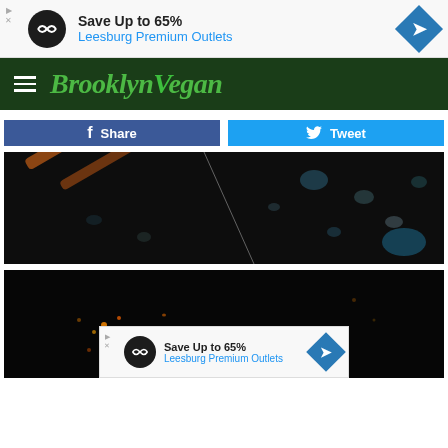[Figure (other): Advertisement banner: Save Up to 65% Leesburg Premium Outlets]
[Figure (logo): BrooklynVegan website logo with hamburger menu icon on dark green navigation bar]
[Figure (other): Facebook Share button and Twitter Tweet button]
[Figure (photo): Dark concert photo showing drum sticks or guitar neck against black background with blurred blue stage lights]
[Figure (photo): Dark concert photo showing sparks or fire/embers against black background]
[Figure (other): Advertisement banner at bottom: Save Up to 65% Leesburg Premium Outlets]